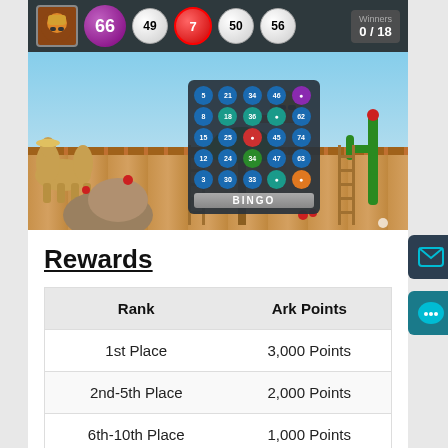[Figure (screenshot): Bingo game screenshot with desert theme. Top bar shows bingo balls: 66 (purple, large), 49, 7 (red), 50, 56 (white), with Winners 0/18 display. Desert background with camels, cactus, ladders, palm trees. Center shows a bingo card with numbers in a 5x5 grid and a BINGO button at bottom. Player avatar visible in top-left of bar.]
Rewards
| Rank | Ark Points |
| --- | --- |
| 1st Place | 3,000 Points |
| 2nd-5th Place | 2,000 Points |
| 6th-10th Place | 1,000 Points |